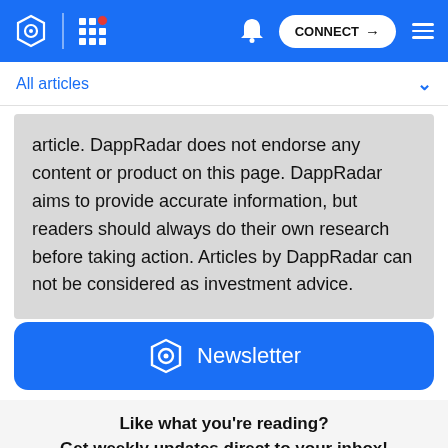CONNECT
All articles
article. DappRadar does not endorse any content or product on this page. DappRadar aims to provide accurate information, but readers should always do their own research before taking action. Articles by DappRadar can not be considered as investment advice.
[Figure (other): Newsletter signup button with DappRadar logo icon and white text reading 'Newsletter' on blue rounded rectangle background]
Like what you're reading?
Get weekly updates direct to your inbox!